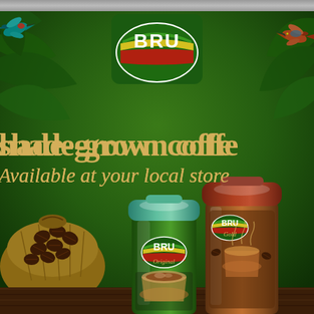[Figure (illustration): BRU coffee advertisement showing BRU logo at top center, tropical jungle green background with exotic birds (hummingbirds), text 'shade-grown coffee' and 'Available at your local store', two BRU product jars (BRU Original green jar and BRU Gold brown jar), coffee beans in burlap sack at bottom left, and wooden table surface.]